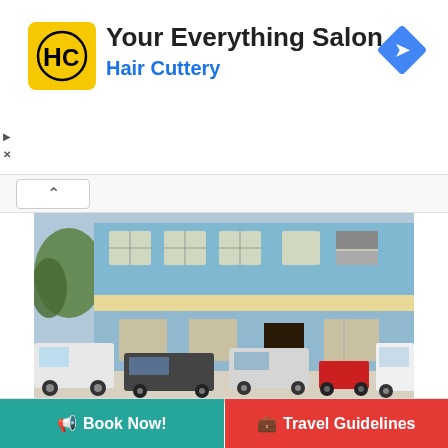[Figure (infographic): Hair Cuttery advertisement banner with yellow HC logo, title 'Your Everything Salon', subtitle 'Hair Cuttery', and a blue diamond navigation icon on the right]
[Figure (photo): Exterior photo of a blue two-story building with yellow columns forming a covered area at the ground level. Cars and a motorcycle are parked in front. The building is S S International.]
S S International
[Figure (other): Two buttons: green 'Book Now!' button and red 'Travel Guidelines' button]